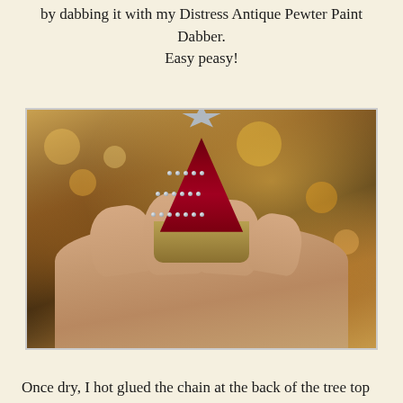by dabbing it with my Distress Antique Pewter Paint Dabber. Easy peasy!
[Figure (photo): A hand holding a small miniature bottle brush Christmas tree decorated with red bristles, silver bead garland wrapped around it, and a silver star on top. The background is blurred with warm bokeh lights.]
Once dry, I hot glued the chain at the back of the tree top